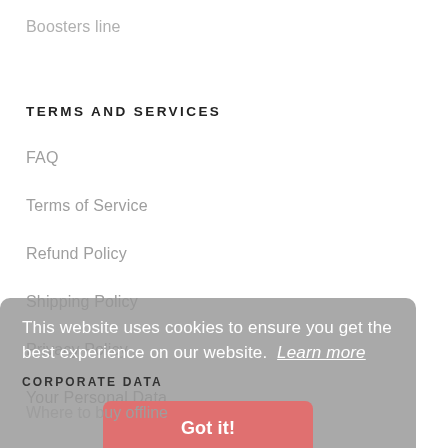Boosters line
TERMS AND SERVICES
FAQ
Terms of Service
Refund Policy
Shipping Policy
Privacy Policy
Your Personal Data
This website uses cookies to ensure you get the best experience on our website. Learn more
CORPORATE DATA
Where to buy offline
For distributors